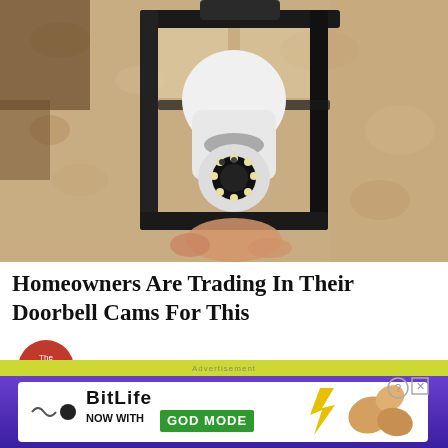[Figure (photo): A person installing a white security camera shaped like a light bulb into an outdoor black metal lantern fixture mounted on a stucco wall]
Homeowners Are Trading In Their Doorbell Cams For This
Sponsored
[Figure (logo): The Print logo - red circle with 'The Print' text and a tail pointing down-left]
[Figure (screenshot): BitLife advertisement banner: 'NOW WITH GOD MODE' with game icon and pointing hand graphic]